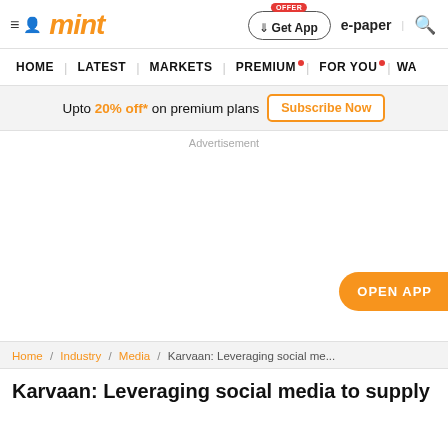mint | Get App | e-paper
HOME | LATEST | MARKETS | PREMIUM | FOR YOU | WA
Upto 20% off* on premium plans  Subscribe Now
Advertisement
OPEN APP
Home / Industry / Media / Karvaan: Leveraging social me...
Karvaan: Leveraging social media to supply